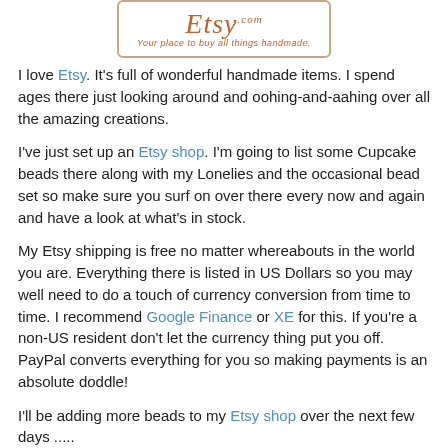[Figure (logo): Etsy.com logo with tagline 'Your place to buy all things handmade.' in an orange/brown decorative border box]
I love Etsy. It's full of wonderful handmade items. I spend ages there just looking around and oohing-and-aahing over all the amazing creations.
I've just set up an Etsy shop. I'm going to list some Cupcake beads there along with my Lonelies and the occasional bead set so make sure you surf on over there every now and again and have a look at what's in stock.
My Etsy shipping is free no matter whereabouts in the world you are. Everything there is listed in US Dollars so you may well need to do a touch of currency conversion from time to time. I recommend Google Finance or XE for this. If you're a non-US resident don't let the currency thing put you off. PayPal converts everything for you so making payments is an absolute doddle!
I'll be adding more beads to my Etsy shop over the next few days .....